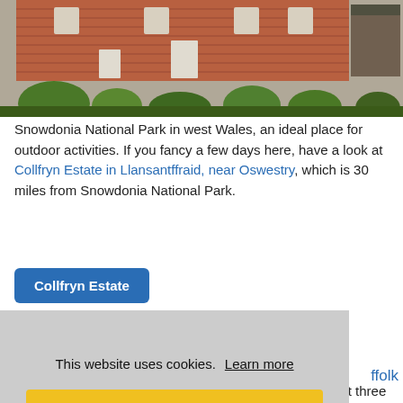[Figure (photo): Photograph of a red brick country estate building with white windows and doors, surrounded by garden shrubs and greenery, overcast sky. Snowdonia National Park area, Wales.]
Snowdonia National Park in west Wales, an ideal place for outdoor activities. If you fancy a few days here, have a look at Collfryn Estate in Llansantffraid, near Oswestry, which is 30 miles from Snowdonia National Park.
Collfryn Estate
d all
This website uses cookies.  Learn more
Got it!
ffolk
Wickham Market, Framlingham and Woodbridge are just three popular towns in this part of Suffolk. This is Ed Sheeran's home